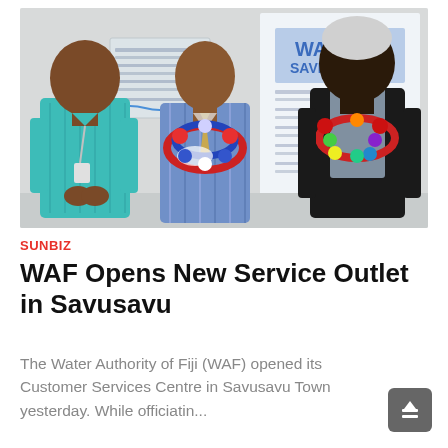[Figure (photo): Three men standing in front of a Water Saving Tips poster. The man on the left wears a teal patterned shirt with a lanyard/ID badge. The man in the center wears a blue striped shirt, a tie, and colorful red, blue and white flower garland/lei. The man on the right wears dark clothing and a colorful red, green, yellow, purple flower garland/lei. Background shows a blue and white Water Saving Tips display board.]
SUNBIZ
WAF Opens New Service Outlet in Savusavu
The Water Authority of Fiji (WAF) opened its Customer Services Centre in Savusavu Town yesterday. While officiatin...